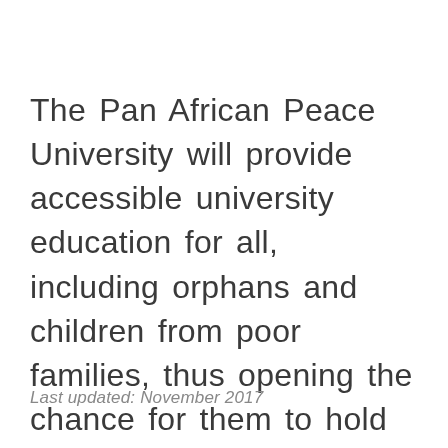The Pan African Peace University will provide accessible university education for all, including orphans and children from poor families, thus opening the chance for them to hold leadership positions and help shape Africa's destiny.
Last updated: November 2017